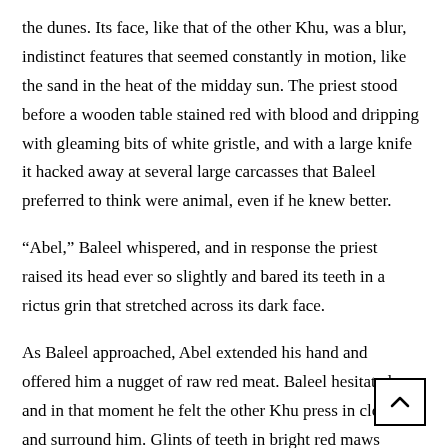the dunes. Its face, like that of the other Khu, was a blur, indistinct features that seemed constantly in motion, like the sand in the heat of the midday sun. The priest stood before a wooden table stained red with blood and dripping with gleaming bits of white gristle, and with a large knife it hacked away at several large carcasses that Baleel preferred to think were animal, even if he knew better.
“Abel,” Baleel whispered, and in response the priest raised its head ever so slightly and bared its teeth in a rictus grin that stretched across its dark face.
As Baleel approached, Abel extended his hand and offered him a nugget of raw red meat. Baleel hesitated, and in that moment he felt the other Khu press in close and surround him. Glints of teeth in bright red maws reflected in the light of the flame, and threatening stares were fixed upon him from the shadows.
Baleel, realizing he had no other option, took the strip of flesh from Abel’s hand and swallowed it down in one quick gulp.